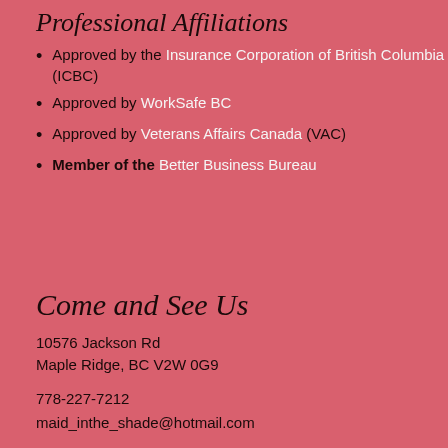Professional Affiliations
Approved by the Insurance Corporation of British Columbia (ICBC)
Approved by WorkSafe BC
Approved by Veterans Affairs Canada (VAC)
Member of the Better Business Bureau
Come and See Us
10576 Jackson Rd
Maple Ridge, BC V2W 0G9
778-227-7212
maid_inthe_shade@hotmail.com